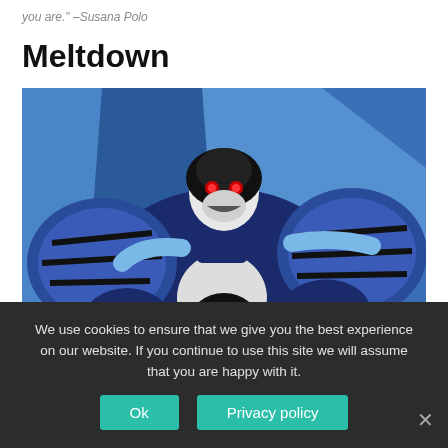you are." –Susana Polo
Meltdown
[Figure (illustration): Animated illustration of a blue armored villain character (Meltdown) with red glowing eyes and a skull-like white face, wearing blue robotic armor, against a blue angular background.]
We use cookies to ensure that we give you the best experience on our website. If you continue to use this site we will assume that you are happy with it.
Ok
Privacy policy